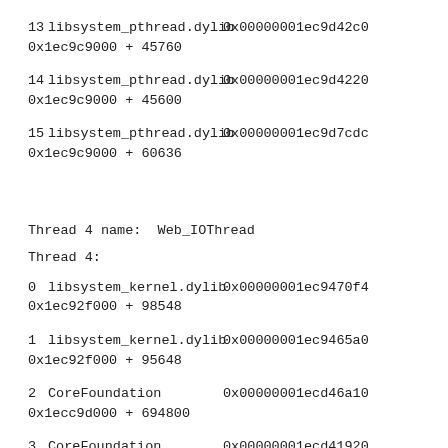13  libsystem_pthread.dylib        0x00000001ec9d42c0
0x1ec9c9000 + 45760
14  libsystem_pthread.dylib        0x00000001ec9d4220
0x1ec9c9000 + 45600
15  libsystem_pthread.dylib        0x00000001ec9d7cdc
0x1ec9c9000 + 60636
Thread 4 name:  Web_IOThread
Thread 4:
0   libsystem_kernel.dylib         0x00000001ec9470f4
0x1ec92f000 + 98548
1   libsystem_kernel.dylib         0x00000001ec9465a0
0x1ec92f000 + 95648
2   CoreFoundation                 0x00000001ecd46a10
0x1ecc9d000 + 694800
3   CoreFoundation                 0x00000001ecd41920